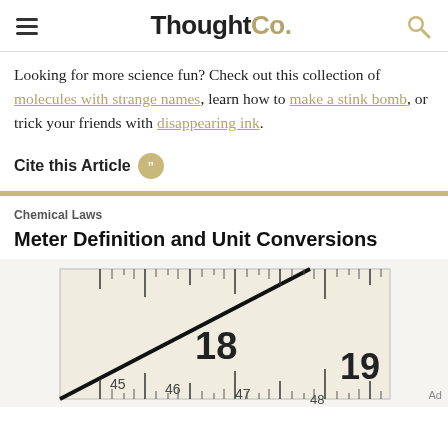ThoughtCo.
Looking for more science fun? Check out this collection of molecules with strange names, learn how to make a stink bomb, or trick your friends with disappearing ink.
Cite this Article
Chemical Laws
Meter Definition and Unit Conversions
[Figure (photo): Close-up photo of a ruler showing measurements around 18-19 cm with tick marks]